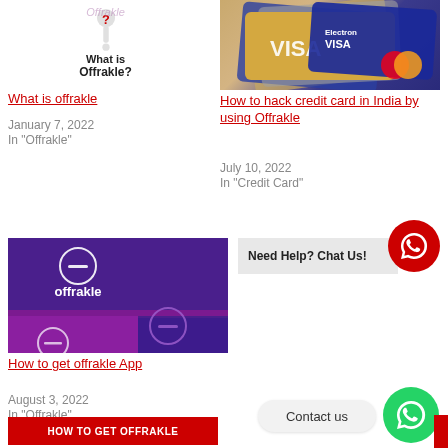[Figure (illustration): Thumbnail showing a 3D question mark figure with text 'What is Offrakle?' and Offrakle watermark logo]
What is offrakle
January 7, 2022
In "Offrakle"
[Figure (photo): Thumbnail showing stacked credit cards including VISA and MasterCard]
How to hack credit card in India by using Offrakle
July 10, 2022
In "Credit Card"
[Figure (screenshot): Thumbnail showing Offrakle app logo on purple/magenta background with minus icons]
How to get offrakle App
August 3, 2022
In "Offrakle"
[Figure (illustration): Red WhatsApp chat bubble icon circle - Need Help? Chat Us!]
Need Help? Chat Us!
Contact us
[Figure (illustration): Green WhatsApp icon circle - Contact us button]
HOW TO GET OFFRAKLE